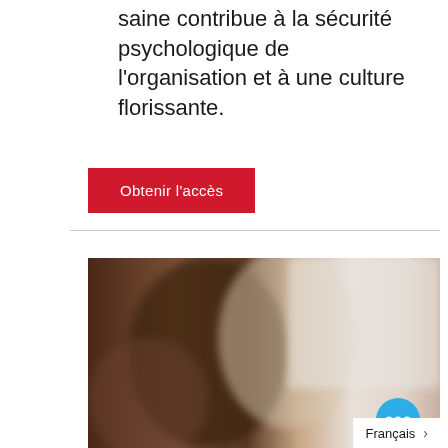saine contribue à la sécurité psychologique de l'organisation et à une culture florissante.
Obtenir l'accès
[Figure (photo): Blurred photo of people in an office or meeting environment, with warm tones on the left and brighter/lighter tones on the right.]
Français >